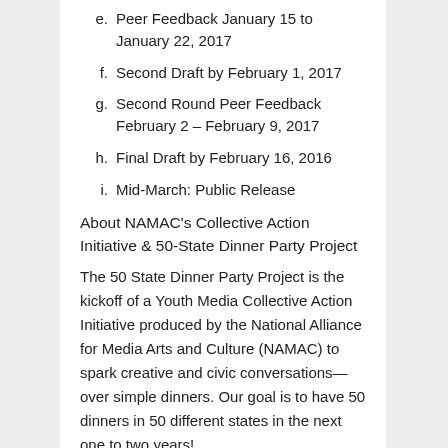e. Peer Feedback January 15 to January 22, 2017
f. Second Draft by February 1, 2017
g. Second Round Peer Feedback February 2 – February 9, 2017
h. Final Draft by February 16, 2016
i. Mid-March: Public Release
About NAMAC's Collective Action Initiative & 50-State Dinner Party Project
The 50 State Dinner Party Project is the kickoff of a Youth Media Collective Action Initiative produced by the National Alliance for Media Arts and Culture (NAMAC) to spark creative and civic conversations—over simple dinners. Our goal is to have 50 dinners in 50 different states in the next one to two years!
To start this work, we are reaching out across the country to ask a question inspired by the